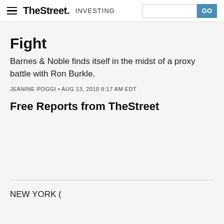TheStreet INVESTING
Fight
Barnes & Noble finds itself in the midst of a proxy battle with Ron Burkle.
JEANINE POGGI • AUG 13, 2010 8:17 AM EDT
Free Reports from TheStreet
NEW YORK (